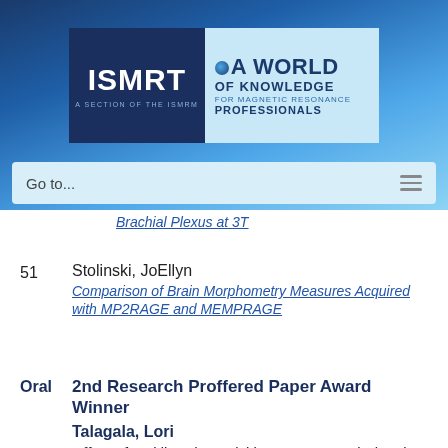[Figure (logo): ISMRT logo with 'A WORLD OF KNOWLEDGE FOR MAGNETIC RESONANCE PROFESSIONALS' tagline on blue gradient background]
Go to...
Brachial Plexus at 3T
51   Stolinski, JoEllyn   Comparison of Brain Morphometry Measures Acquired with MP2RAGE and MEMPRAGE
Oral   2nd Research Proffered Paper Award Winner   Talagala, Lori   Effect of Multiband Acquisition on Temporal Signal to Noise Ratio (tSNR) at 3T